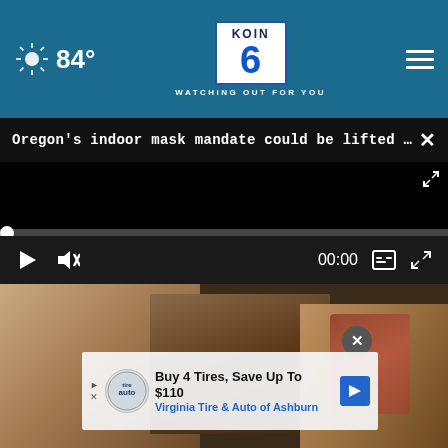84° KOIN 6 CBS — WATCHING OUT FOR YOU
Oregon's indoor mask mandate could be lifted by ...
[Figure (screenshot): Black video player area with playback controls: play button, mute icon, time 00:00, captions icon, fullscreen icon, and a progress bar with a white dot at the start.]
[Figure (photo): Close-up photo of hands holding something, partially visible below the video player area.]
Buy 4 Tires, Save Up To $110 Virginia Tire & Auto of Ashburn